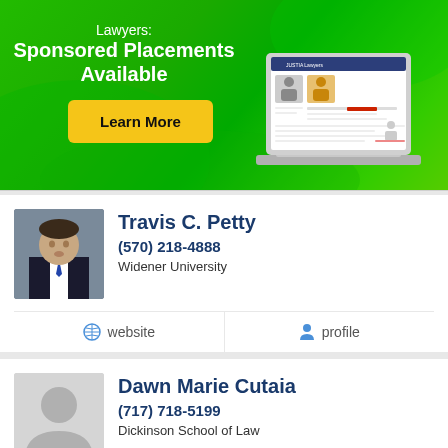[Figure (infographic): Green banner advertisement: 'Lawyers: Sponsored Placements Available' with a yellow 'Learn More' button and a laptop showing Justia Lawyers website illustration]
Travis C. Petty
(570) 218-4888
Widener University
website
profile
Dawn Marie Cutaia
(717) 718-5199
Dickinson School of Law